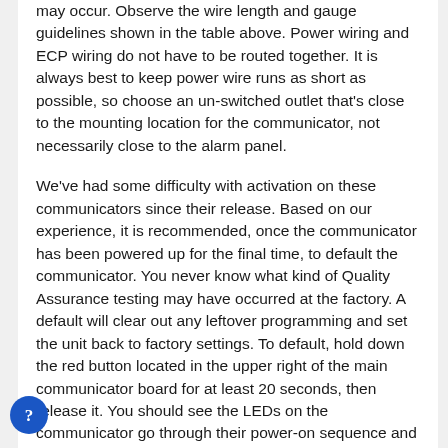may occur. Observe the wire length and gauge guidelines shown in the table above. Power wiring and ECP wiring do not have to be routed together. It is always best to keep power wire runs as short as possible, so choose an un-switched outlet that's close to the mounting location for the communicator, not necessarily close to the alarm panel.
We've had some difficulty with activation on these communicators since their release. Based on our experience, it is recommended, once the communicator has been powered up for the final time, to default the communicator. You never know what kind of Quality Assurance testing may have occurred at the factory. A default will clear out any leftover programming and set the unit back to factory settings. To default, hold down the red button located in the upper right of the main communicator board for at least 20 seconds, then release it. You should see the LEDs on the communicator go through their power-on sequence and then settle back to normal. Once this occurs, perform a full power cycle. Do this by unplugging the transformer, and unplugging the battery. Wait thirty seconds, then plug in the battery, then the transformer.